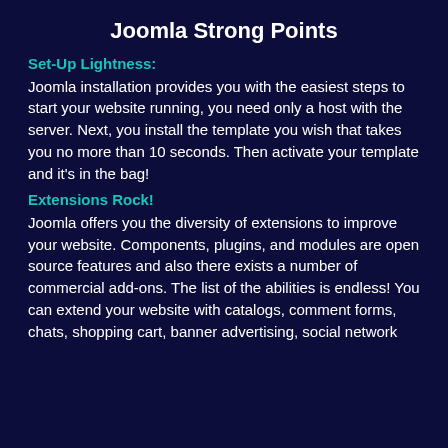Joomla Strong Points
Set-Up Lightness:
Joomla installation provides you with the easiest steps to start your website running, you need only a host with the server. Next, you install the template you wish that takes you no more than 10 seconds. Then activate your template and it's in the bag!
Extensions Rock!
Joomla offers you the diversity of extensions to improve your website. Components, plugins, and modules are open source features and also there exists a number of commercial add-ons. The list of the abilities is endless! You can extend your website with catalogs, comment forms, chats, shopping cart, banner advertising, social network